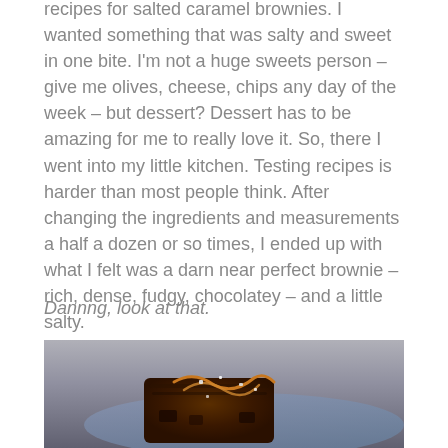recipes for salted caramel brownies. I wanted something that was salty and sweet in one bite. I'm not a huge sweets person – give me olives, cheese, chips any day of the week – but dessert? Dessert has to be amazing for me to really love it. So, there I went into my little kitchen. Testing recipes is harder than most people think. After changing the ingredients and measurements a half a dozen or so times, I ended up with what I felt was a darn near perfect brownie – rich, dense, fudgy, chocolatey – and a little salty.
Dannng, look at that.
[Figure (photo): Close-up photo of a salted caramel brownie on a plate, showing a rich dark chocolate brownie with caramel drizzle and salt on top, on a blue/gray plate with blurred background.]